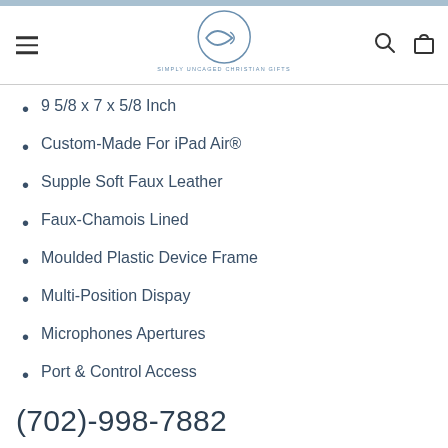Simply Uncaged Christian Gifts
9 5/8 x 7 x 5/8 Inch
Custom-Made For iPad Air®
Supple Soft Faux Leather
Faux-Chamois Lined
Moulded Plastic Device Frame
Multi-Position Dispay
Microphones Apertures
Port & Control Access
(702)-998-7882